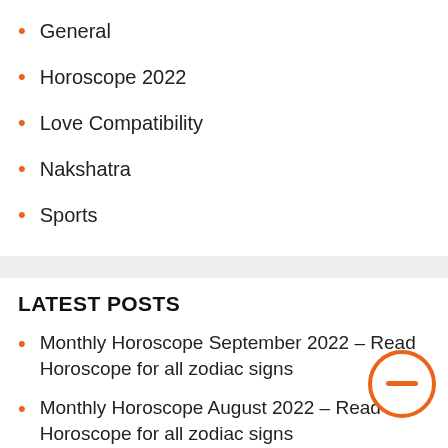General
Horoscope 2022
Love Compatibility
Nakshatra
Sports
LATEST POSTS
Monthly Horoscope September 2022 – Read Horoscope for all zodiac signs
Monthly Horoscope August 2022 – Read Horoscope for all zodiac signs
Happy Birthday Ranveer Singh: We wish you success and a great career!